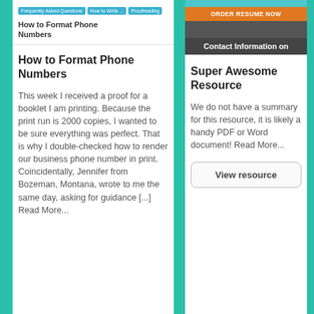[Figure (screenshot): Blog post preview card with tags: Frequently Asked Questions, How to Write ..., Proofreading. Shows article thumbnail with title 'How to Format Phone Numbers']
How to Format Phone Numbers
This week I received a proof for a booklet I am printing. Because the print run is 2000 copies, I wanted to be sure everything was perfect. That is why I double-checked how to render our business phone number in print. Coincidentally, Jennifer from Bozeman, Montana, wrote to me the same day, asking for guidance [...] Read More...
[Figure (screenshot): Banner image with teal top section containing 'ORDER RESUME NOW' button in orange, and dark gray bottom section with text 'Contact Information on']
Super Awesome Resource
We do not have a summary for this resource, it is likely a handy PDF or Word document! Read More...